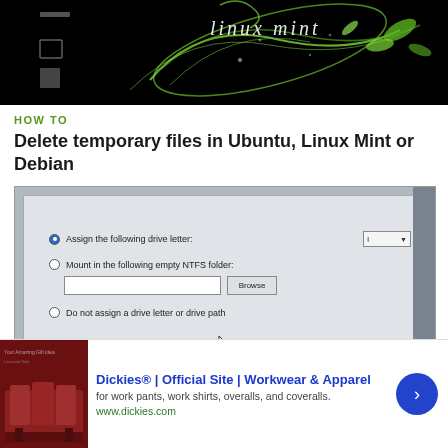[Figure (screenshot): Linux Mint desktop splash screen with green swirling leaf design on black background with 'linux mint' text]
HOW TO
Delete temporary files in Ubuntu, Linux Mint or Debian
[Figure (screenshot): Windows disk management dialog showing options: Assign the following drive letter (with dropdown showing I), Mount in the following empty NTFS folder (with text field and Browse button), Do not assign a drive letter or drive path. A mouse cursor is visible.]
[Figure (other): Advertisement: Dickies Official Site - Workwear and Apparel. For work pants, work shirts, overalls, and coveralls. www.dickies.com. Shows red furniture image on left and blue arrow button on right.]